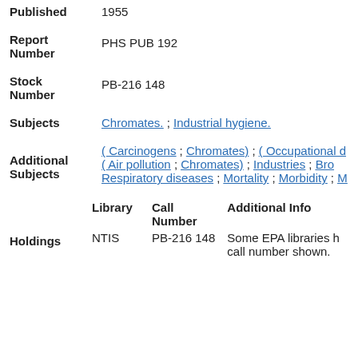1955
Report Number: PHS PUB 192
Stock Number: PB-216 148
Subjects: Chromates. ; Industrial hygiene.
Additional Subjects: ( Carcinogens ; Chromates) ; ( Occupational d... ( Air pollution ; Chromates) ; Industries ; Bro... Respiratory diseases ; Mortality ; Morbidity ; M...
| Library | Call Number | Additional Info |
| --- | --- | --- |
| NTIS | PB-216 148 | Some EPA libraries h... call number shown. |